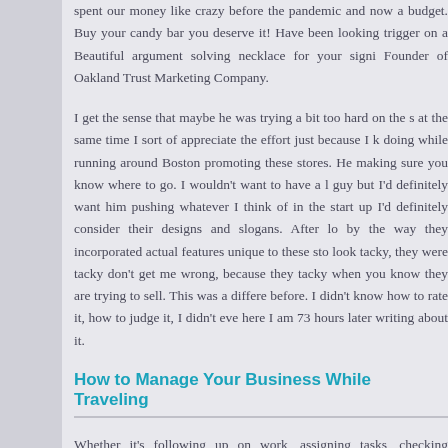spent our money like crazy before the pandemic and now a budget. Buy your candy bar you deserve it! Have been looking trigger on a Beautiful argument solving necklace for your signi Founder of Oakland Trust Marketing Company.
I get the sense that maybe he was trying a bit too hard on the s at the same time I sort of appreciate the effort just because I k doing while running around Boston promoting these stores. He making sure you know where to go. I wouldn't want to have a l guy but I'd definitely want him pushing whatever I think of in the start up I'd definitely consider their designs and slogans. After lo by the way they incorporated actual features unique to these st look tacky, they were tacky don't get me wrong, because they tacky when you know they are trying to sell. This was a differe before. I didn't know how to rate it, how to judge it, I didn't eve here I am 73 hours later writing about it.
How to Manage Your Business While Traveling
Whether it's following up on work, assigning tasks, checking replying to customers, it can all be done from your phone. As